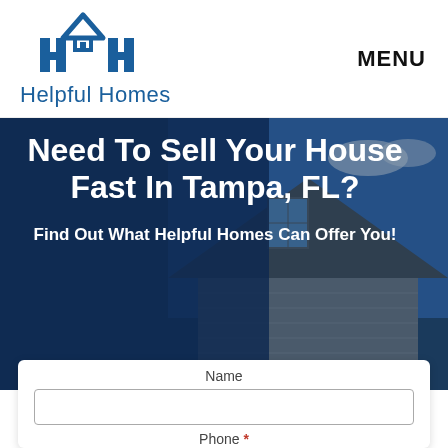[Figure (logo): Helpful Homes logo: stylized H-H letters with a house roof icon above, in blue. Text 'Helpful Homes' beneath in blue.]
MENU
Need To Sell Your House Fast In Tampa, FL?
Find Out What Helpful Homes Can Offer You!
Name
Phone *